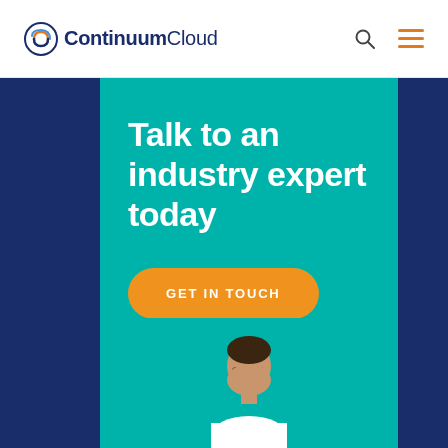ContinuumCloud
Talk to an industry expert today
GET IN TOUCH
[Figure (photo): Person wearing glasses looking down, visible from shoulders up, against teal background]